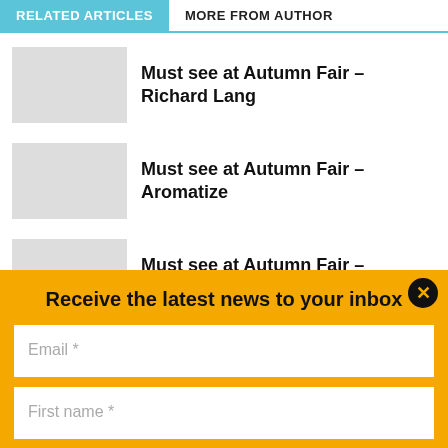RELATED ARTICLES | MORE FROM AUTHOR
Must see at Autumn Fair – Richard Lang
Must see at Autumn Fair – Aromatize
Must see at Autumn Fair – Warmies
Receive the latest news to your inbox
Email *
First name *